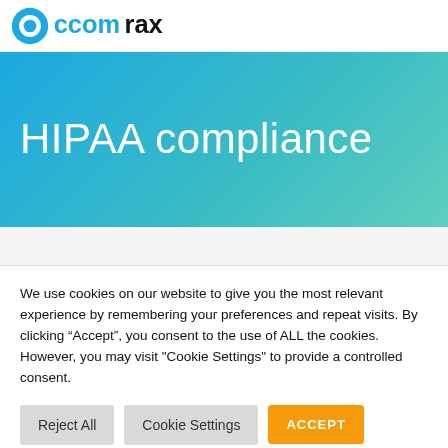ccomrax (logo)
HIPAA compliance
We use cookies on our website to give you the most relevant experience by remembering your preferences and repeat visits. By clicking “Accept”, you consent to the use of ALL the cookies. However, you may visit "Cookie Settings" to provide a controlled consent.